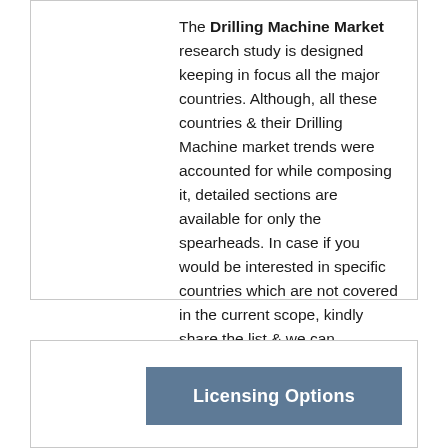The Drilling Machine Market research study is designed keeping in focus all the major countries. Although, all these countries & their Drilling Machine market trends were accounted for while composing it, detailed sections are available for only the spearheads. In case if you would be interested in specific countries which are not covered in the current scope, kindly share the list & we can customize the study based on the geographical scope defined by you.
Licensing Options